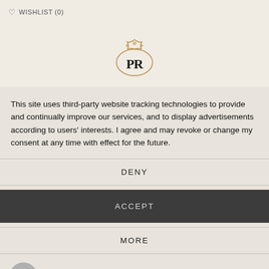♡ WISHLIST (0)
[Figure (logo): Decorative PR brand logo with ornate crown/floral motif above stylized PR letters]
This site uses third-party website tracking technologies to provide and continually improve our services, and to display advertisements according to users' interests. I agree and may revoke or change my consent at any time with effect for the future.
DENY
ACCEPT
MORE
Powered by usercentrics &